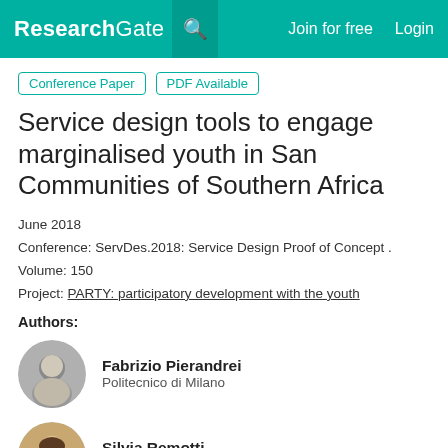ResearchGate  Join for free  Login
Conference Paper  PDF Available
Service design tools to engage marginalised youth in San Communities of Southern Africa
June 2018
Conference: ServDes.2018: Service Design Proof of Concept .
Volume: 150
Project: PARTY: participatory development with the youth
Authors:
Fabrizio Pierandrei
Politecnico di Milano
Silvia Remotti
PACO Design Collaborative